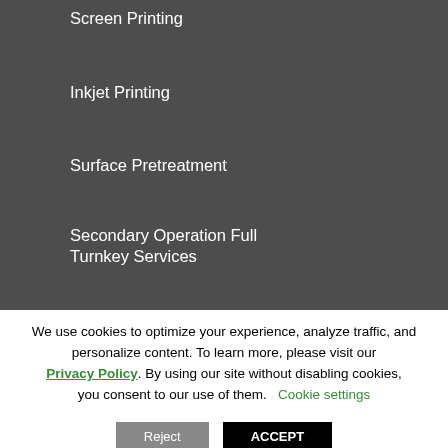Screen Printing
Inkjet Printing
Surface Pretreatment
Secondary Operation Full Turnkey Services
REQUEST A QUOTE
TECHNICAL INFO
Preparing your Artwork
Technical Documentation
We use cookies to optimize your experience, analyze traffic, and personalize content. To learn more, please visit our Privacy Policy. By using our site without disabling cookies, you consent to our use of them. Cookie settings
Reject
ACCEPT